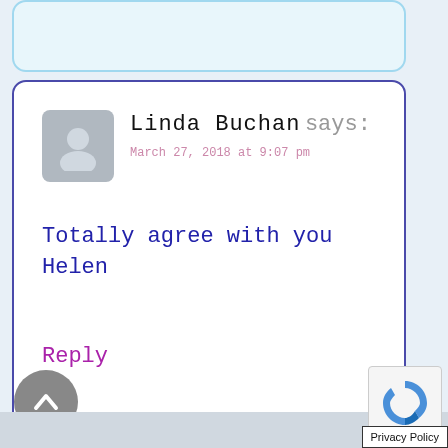[Figure (screenshot): Top comment card (partially visible), light blue background with rounded border]
Linda Buchan says:
March 27, 2018 at 9:07 pm

Totally agree with you Helen

Reply
Privacy Policy